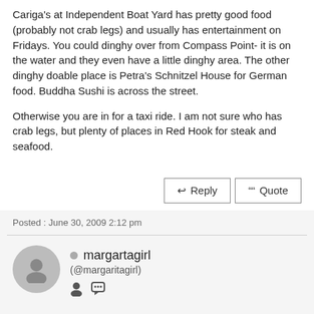Cariga's at Independent Boat Yard has pretty good food (probably not crab legs) and usually has entertainment on Fridays. You could dinghy over from Compass Point- it is on the water and they even have a little dinghy area. The other dinghy doable place is Petra's Schnitzel House for German food. Buddha Sushi is across the street.

Otherwise you are in for a taxi ride. I am not sure who has crab legs, but plenty of places in Red Hook for steak and seafood.
Posted : June 30, 2009 2:12 pm
margaritagirl (@margaritagirl)